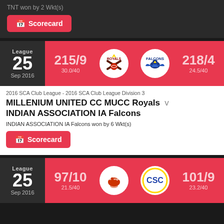TNT won by 2 Wkt(s)
Scorecard
League 25 Sep 2016
215/9 30.0/40
218/4 24.5/40
2016 SCA Club League - 2016 SCA Club League Division 3
MILLENIUM UNITED CC MUCC Royals v INDIAN ASSOCIATION IA Falcons
INDIAN ASSOCIATION IA Falcons won by 6 Wkt(s)
Scorecard
League 25 Sep 2016
97/10 21.5/40
101/9 23.2/40